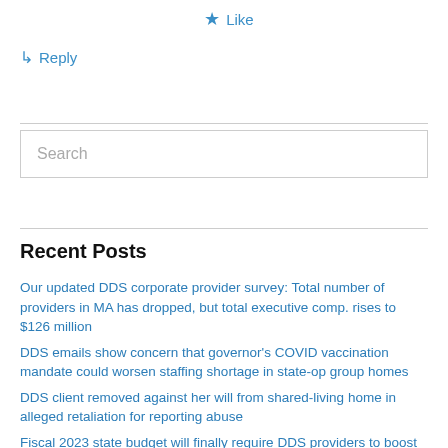★ Like
↳ Reply
Search
Recent Posts
Our updated DDS corporate provider survey: Total number of providers in MA has dropped, but total executive comp. rises to $126 million
DDS emails show concern that governor's COVID vaccination mandate could worsen staffing shortage in state-op group homes
DDS client removed against her will from shared-living home in alleged retaliation for reporting abuse
Fiscal 2023 state budget will finally require DDS providers to boost direct-care wages